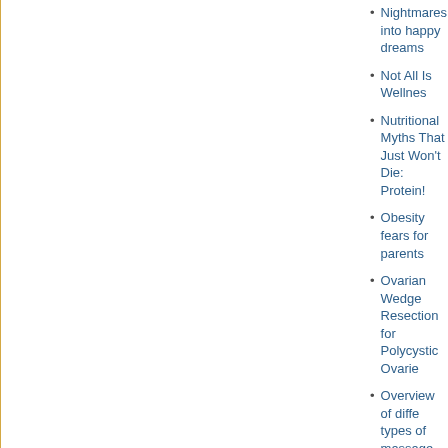Nightmares into happy dreams
Not All Is Wellness
Nutritional Myths That Just Won't Die: Protein!
Obesity fears for parents
Ovarian Wedge Resection for Polycystic Ovaries
Overview of different types of massage therapies
Oxytocin and Parenting
PAIN MANAGEMENT
Pain Management Cancer Patients
Parents fall ill twice as much as anyone else, new research has revealed
Parsley Oil For...